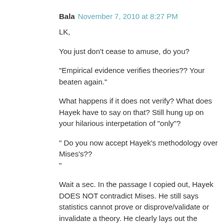Bala  November 7, 2010 at 8:27 PM
LK,
You just don't cease to amuse, do you?
"Empirical evidence verifies theories?? Your beaten again."
What happens if it does not verify? What does Hayek have to say on that? Still hung up on your hilarious interpetation of "only"?
" Do you now accept Hayek's methodology over Mises's??
"
Wait a sec. In the passage I copied out, Hayek DOES NOT contradict Mises. He still says statistics cannot prove or disprove/validate or invalidate a theory. He clearly lays out the method for developing theories which is to start from solid foundations (axiomatic) and then use reasoning. So Hayek has given a fairly dignified (undeserved, though)